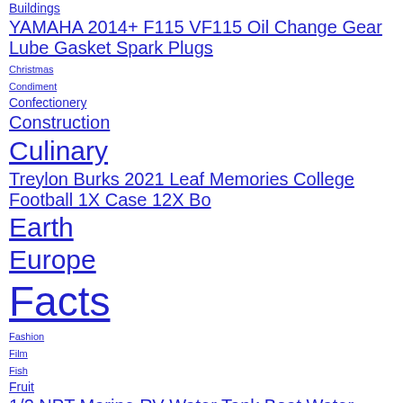Buildings
YAMAHA 2014+ F115 VF115 Oil Change Gear Lube Gasket Spark Plugs
Christmas
Condiment
Confectionery
Construction
Culinary
Treylon Burks 2021 Leaf Memories College Football 1X Case 12X Bo
Earth
Europe
Facts
Fashion
Film
Fish
Fruit
1/2 NPT Marine RV Water Tank Boat Water Pump Pressure 0.75 L 125
Health
Insect
Invention
Landform
Mammal